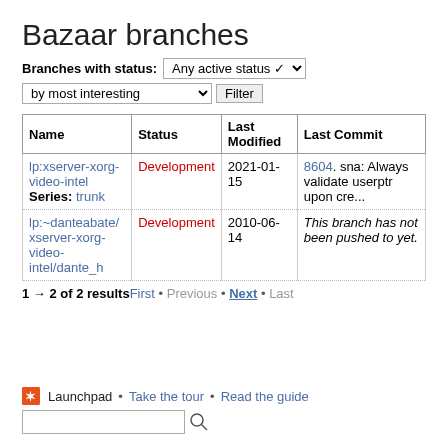Bazaar branches
Branches with status: Any active status ▾  by most interesting ▾  Filter
| Name | Status | Last Modified | Last Commit |
| --- | --- | --- | --- |
| lp:xserver-xorg-video-intel
Series: trunk | Development | 2021-01-15 | 8604. sna: Always validate userptr upon cre... |
| lp:~danteabate/xserver-xorg-video-intel/dante_h | Development | 2010-06-14 | This branch has not been pushed to yet. |
1 → 2 of 2 resultsFirst • Previous • Next • Last
Launchpad • Take the tour • Read the guide